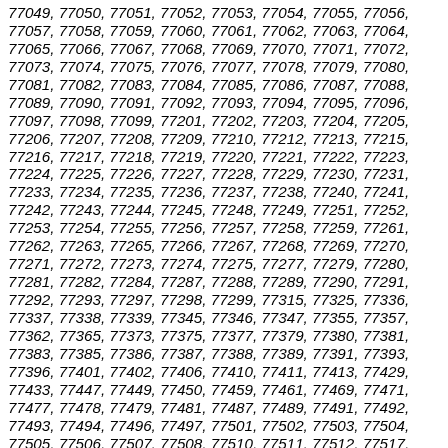77049, 77050, 77051, 77052, 77053, 77054, 77055, 77056, 77057, 77058, 77059, 77060, 77061, 77062, 77063, 77064, 77065, 77066, 77067, 77068, 77069, 77070, 77071, 77072, 77073, 77074, 77075, 77076, 77077, 77078, 77079, 77080, 77081, 77082, 77083, 77084, 77085, 77086, 77087, 77088, 77089, 77090, 77091, 77092, 77093, 77094, 77095, 77096, 77097, 77098, 77099, 77201, 77202, 77203, 77204, 77205, 77206, 77207, 77208, 77209, 77210, 77212, 77213, 77215, 77216, 77217, 77218, 77219, 77220, 77221, 77222, 77223, 77224, 77225, 77226, 77227, 77228, 77229, 77230, 77231, 77233, 77234, 77235, 77236, 77237, 77238, 77240, 77241, 77242, 77243, 77244, 77245, 77248, 77249, 77251, 77252, 77253, 77254, 77255, 77256, 77257, 77258, 77259, 77261, 77262, 77263, 77265, 77266, 77267, 77268, 77269, 77270, 77271, 77272, 77273, 77274, 77275, 77277, 77279, 77280, 77281, 77282, 77284, 77287, 77288, 77289, 77290, 77291, 77292, 77293, 77297, 77298, 77299, 77315, 77325, 77336, 77337, 77338, 77339, 77345, 77346, 77347, 77355, 77357, 77362, 77365, 77373, 77375, 77377, 77379, 77380, 77381, 77383, 77385, 77386, 77387, 77388, 77389, 77391, 77393, 77396, 77401, 77402, 77406, 77410, 77411, 77413, 77429, 77433, 77447, 77449, 77450, 77459, 77461, 77469, 77471, 77477, 77478, 77479, 77481, 77487, 77489, 77491, 77492, 77493, 77494, 77496, 77497, 77501, 77502, 77503, 77504, 77505, 77506, 77507, 77508, 77510, 77511, 77512, 77517,